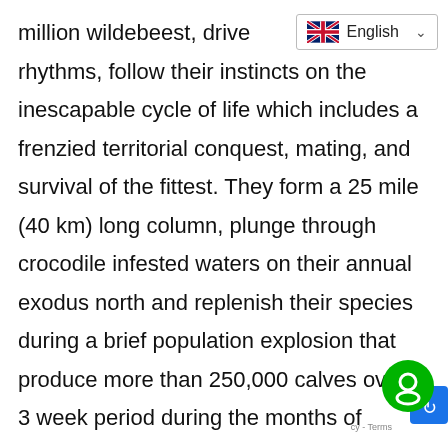[Figure (screenshot): Language selector bar showing UK flag and 'English' with a dropdown chevron]
million wildebeest, drive... rhythms, follow their instincts on the inescapable cycle of life which includes a frenzied territorial conquest, mating, and survival of the fittest. They form a 25 mile (40 km) long column, plunge through crocodile infested waters on their annual exodus north and replenish their species during a brief population explosion that produce more than 250,000 calves over a 3 week period during the months of October-December, following their 600 mile pilgrimage. You will also have th... opportunity to explore the Serengeti's endless